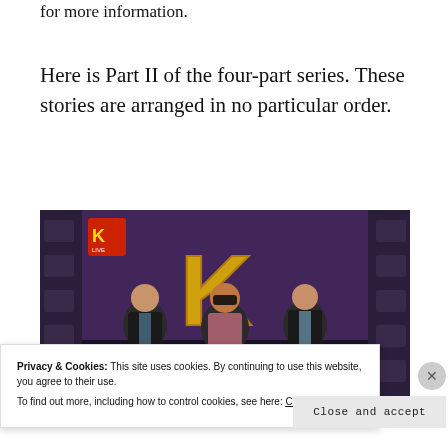for more information.
Here is Part II of the four-part series. These stories are arranged in no particular order.
[Figure (photo): Television broadcast screenshot showing three men seated at a desk on a TV show set with a large stylized 'K' logo in the background and a network logo in the upper left corner.]
Privacy & Cookies: This site uses cookies. By continuing to use this website, you agree to their use.
To find out more, including how to control cookies, see here: Cookie Policy
Close and accept